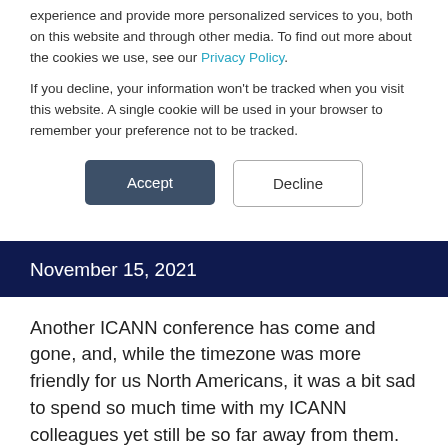experience and provide more personalized services to you, both on this website and through other media. To find out more about the cookies we use, see our Privacy Policy.
If you decline, your information won't be tracked when you visit this website. A single cookie will be used in your browser to remember your preference not to be tracked.
Accept | Decline
November 15, 2021
Another ICANN conference has come and gone, and, while the timezone was more friendly for us North Americans, it was a bit sad to spend so much time with my ICANN colleagues yet still be so far away from them. ICANN72 saw several interesting sessions: working meetings open to public observation, Stakeholder Consensus sessions, and...